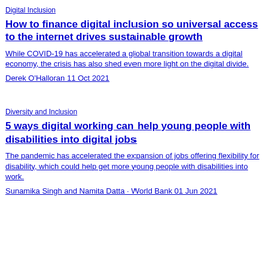Digital Inclusion
How to finance digital inclusion so universal access to the internet drives sustainable growth
While COVID-19 has accelerated a global transition towards a digital economy, the crisis has also shed even more light on the digital divide.
Derek O'Halloran 11 Oct 2021
Diversity and Inclusion
5 ways digital working can help young people with disabilities into digital jobs
The pandemic has accelerated the expansion of jobs offering flexibility for disability, which could help get more young people with disabilities into work.
Sunamika Singh and Namita Datta · World Bank 01 Jun 2021